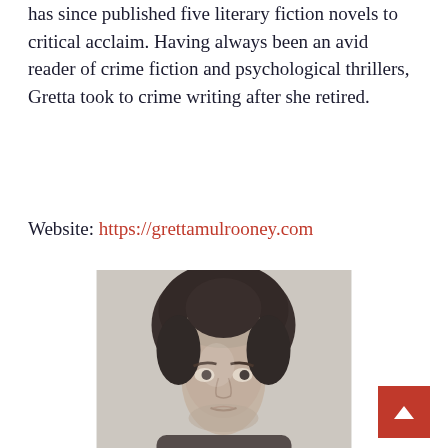has since published five literary fiction novels to critical acclaim. Having always been an avid reader of crime fiction and psychological thrillers, Gretta took to crime writing after she retired.
Website: https://grettamulrooney.com
[Figure (photo): Black and white portrait photograph of a woman with dark hair pulled up, looking directly at the camera with a slight expression.]